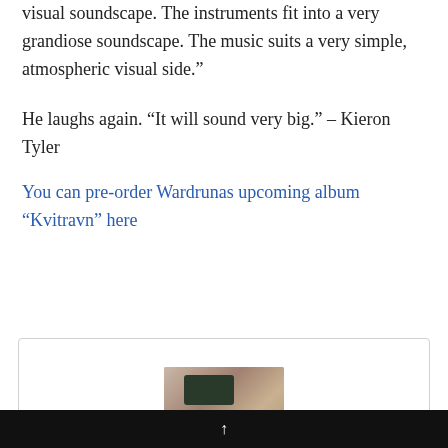visual soundscape. The instruments fit into a very grandiose soundscape. The music suits a very simple, atmospheric visual side.”
He laughs again. “It will sound very big.” – Kieron Tyler
You can pre-order Wardrunas upcoming album “Kvitravn” here
[Figure (photo): A framed card/widget showing a photo of a typewriter and papers on a wooden desk surface]
↑